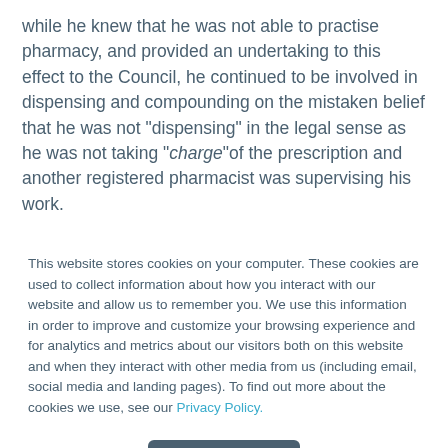while he knew that he was not able to practise pharmacy, and provided an undertaking to this effect to the Council, he continued to be involved in dispensing and compounding on the mistaken belief that he was not "dispensing" in the legal sense as he was not taking "charge"of the prescription and another registered pharmacist was supervising his work.

The Health Practitioners Disciplinary Tribunal found the pharmacist guilty of practising without an APC, as there was "uncontradicted evidence that [the pharmacist] was...
This website stores cookies on your computer. These cookies are used to collect information about how you interact with our website and allow us to remember you. We use this information in order to improve and customize your browsing experience and for analytics and metrics about our visitors both on this website and when they interact with other media from us (including email, social media and landing pages). To find out more about the cookies we use, see our Privacy Policy.